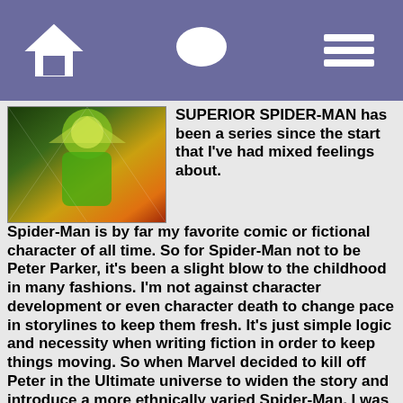Navigation bar with home, chat, and menu icons
[Figure (illustration): Comic book artwork showing a Spider-Man character in green and yellow costume]
SUPERIOR SPIDER-MAN has been a series since the start that I've had mixed feelings about. Spider-Man is by far my favorite comic or fictional character of all time. So for Spider-Man not to be Peter Parker, it's been a slight blow to the childhood in many fashions. I'm not against character development or even character death to change pace in storylines to keep them fresh. It's just simple logic and necessity when writing fiction in order to keep things moving. So when Marvel decided to kill off Peter in the Ultimate universe to widen the story and introduce a more ethnically varied Spider-Man, I was completely cool with that. Peter got a respectable death, and Marvel introduced a hero-oriented character.
However, Marvel eliminating a character as big as Parker in Earth 616, their main universe of story, to add in someone as annoying and undeserving as Otto, it felt